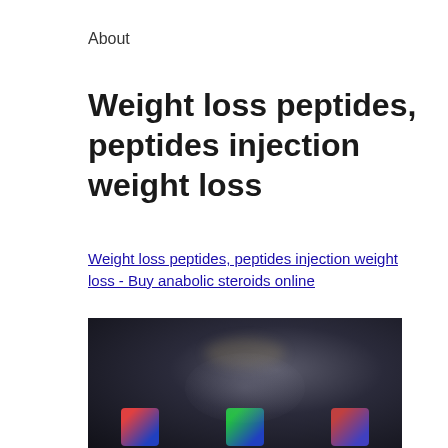About
Weight loss peptides, peptides injection weight loss
Weight loss peptides, peptides injection weight loss - Buy anabolic steroids online
[Figure (photo): Dark blurred product photo showing supplement bottles at the bottom against a dark background with a faint glowing figure silhouette]